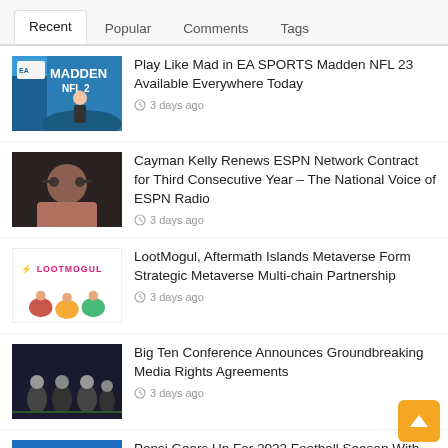Recent | Popular | Comments | Tags
Play Like Mad in EA SPORTS Madden NFL 23 Available Everywhere Today – 3 days ago
Cayman Kelly Renews ESPN Network Contract for Third Consecutive Year – The National Voice of ESPN Radio – 3 days ago
LootMogul, Aftermath Islands Metaverse Form Strategic Metaverse Multi-chain Partnership – 3 days ago
Big Ten Conference Announces Groundbreaking Media Rights Agreements – 3 days ago
Pepsi Gears Up For 2022 Football Season With New Pepsi Gametime Fridge TV